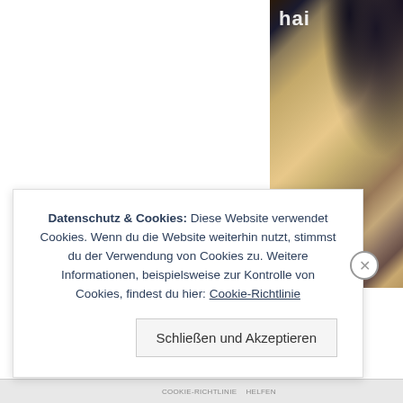[Figure (photo): Website screenshot showing a white left panel and a right side photo with glittery golden/beige texture and dark top (hair product or fashion image). Text 'hai' partially visible at top right.]
Datenschutz & Cookies: Diese Website verwendet Cookies. Wenn du die Website weiterhin nutzt, stimmst du der Verwendung von Cookies zu. Weitere Informationen, beispielsweise zur Kontrolle von Cookies, findest du hier: Cookie-Richtlinie
Schließen und Akzeptieren